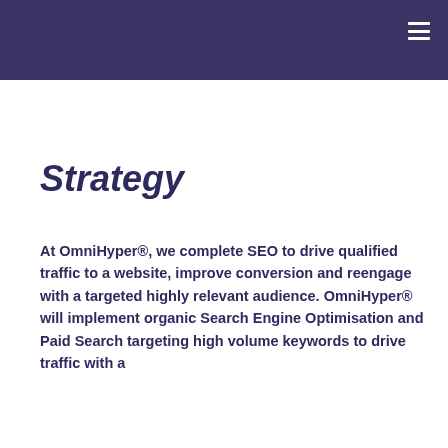Strategy
At OmniHyper®, we complete SEO to drive qualified traffic to a website, improve conversion and reengage with a targeted highly relevant audience. OmniHyper® will implement organic Search Engine Optimisation and Paid Search targeting high volume keywords to drive traffic with a